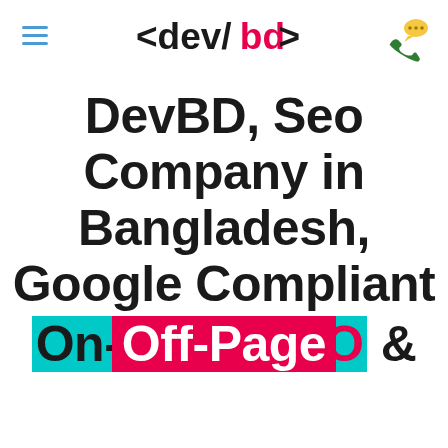<dev/bd> logo with hamburger menu and phone icon
DevBD, Seo Company in Bangladesh, Google Compliant On-Page SEO & Off-Page